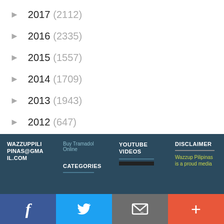► 2017 (2112)
► 2016 (2335)
► 2015 (1557)
► 2014 (1709)
► 2013 (1943)
► 2012 (647)
WAZZUPPILIPINAS@GMAIL.COM | Buy Tramadol Online | CATEGORIES | YOUTUBE VIDEOS | DISCLAIMER | Wazzup Pilipinas is a proud media | Facebook | Twitter | Email | Plus